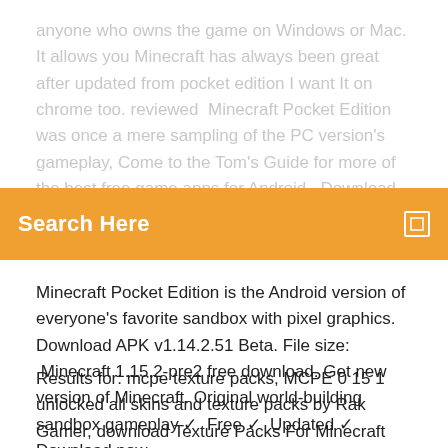anyone who owns the game on Windows or Mac. It allows you Minecraft has always been great after updated from pocket edition I want It on chrome too. reviewed  Minecraft Pocket Edition was once a mere sampling of the PC version's gameplay, Come to the Tom's Guide for more of the best free game apps for Android.  Download Minecraft for Mac & read reviews. A
[Figure (screenshot): Orange search bar with 'Search Here' text in white bold and a small square icon on the right]
Minecraft Pocket Edition is the Android version of everyone's favorite sandbox with pixel graphics. Download APK v1.14.2.51 Beta. File size:  Minecraft 1.15.2-pre2 free download. Get new version of Minecraft. Original world-building sandbox gameplay ✓  Free ✓  Updated ✓  Download now.
Results for: mcpe texture packs, MCPE 0 15 1 unlocked all skins and texture packs by Rak Gamer, download Texture Packs For Minecraft PE v1.1 free.apk, MCPE 0 15 2 unlocked all skins and texture packs, Texture Packs for Minecraft PE v3.1.1 ...